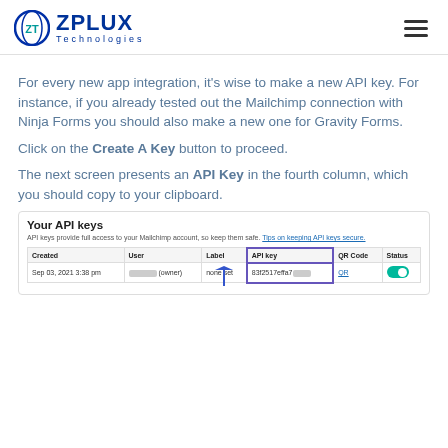ZPLUX Technologies
For every new app integration, it’s wise to make a new API key. For instance, if you already tested out the Mailchimp connection with Ninja Forms you should also make a new one for Gravity Forms.
Click on the Create A Key button to proceed.
The next screen presents an API Key in the fourth column, which you should copy to your clipboard.
[Figure (screenshot): Screenshot of Mailchimp 'Your API keys' page showing a table with columns: Created, User, Label, API key, QR Code, Status. One row shows Sep 03, 2021 3:38 pm, a redacted user (owner), none set, a partially visible API key '83f2517effa7...' highlighted with a purple border, QR link, and a teal toggle switched on. A blue arrow points up to the API key cell.]